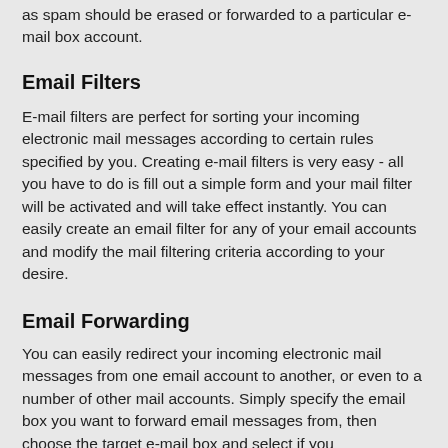as spam should be erased or forwarded to a particular e-mail box account.
Email Filters
E-mail filters are perfect for sorting your incoming electronic mail messages according to certain rules specified by you. Creating e-mail filters is very easy - all you have to do is fill out a simple form and your mail filter will be activated and will take effect instantly. You can easily create an email filter for any of your email accounts and modify the mail filtering criteria according to your desire.
Email Forwarding
You can easily redirect your incoming electronic mail messages from one email account to another, or even to a number of other mail accounts. Simply specify the email box you want to forward email messages from, then choose the target e-mail box and select if you